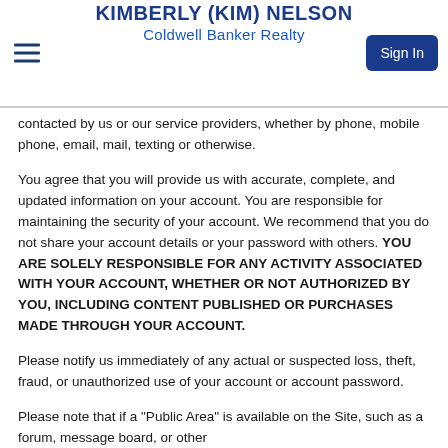KIMBERLY (KIM) NELSON
Coldwell Banker Realty
contacted by us or our service providers, whether by phone, mobile phone, email, mail, texting or otherwise.
You agree that you will provide us with accurate, complete, and updated information on your account. You are responsible for maintaining the security of your account. We recommend that you do not share your account details or your password with others. YOU ARE SOLELY RESPONSIBLE FOR ANY ACTIVITY ASSOCIATED WITH YOUR ACCOUNT, WHETHER OR NOT AUTHORIZED BY YOU, INCLUDING CONTENT PUBLISHED OR PURCHASES MADE THROUGH YOUR ACCOUNT.
Please notify us immediately of any actual or suspected loss, theft, fraud, or unauthorized use of your account or account password.
Please note that if a "Public Area" is available on the Site, such as a forum, message board, or other